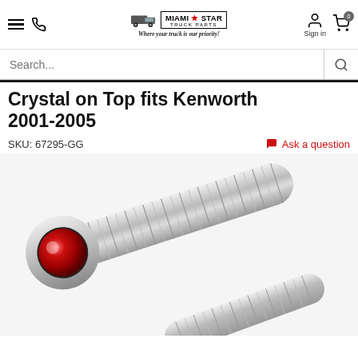Miami Star Truck Parts — Where your truck is our priority!
Search...
Crystal on Top fits Kenworth 2001-2005
SKU: 67295-GG
Ask a question
[Figure (photo): Two chrome screws/bolts with red crystal gemstone inset on the flat head, shown at an angle on a white background.]